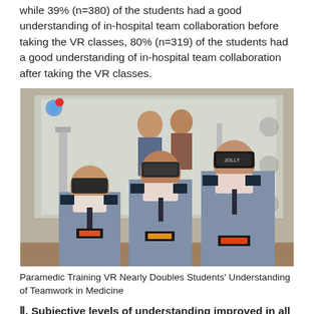while 39% (n=380) of the students had a good understanding of in-hospital team collaboration before taking the VR classes, 80% (n=319) of the students had a good understanding of in-hospital team collaboration after taking the VR classes.
[Figure (photo): Three paramedic students in blue uniforms wearing VR headsets (Jolly brand) and medical masks standing in front of a projected screen showing a hospital scene with medical staff.]
Paramedic Training VR Nearly Doubles Students' Understanding of Teamwork in Medicine
Ⅱ. Subjective levels of understanding improved in all 6